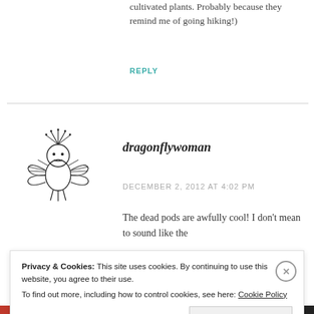cultivated plants. Probably because they remind me of going hiking!)
REPLY
[Figure (illustration): Black and white line drawing of a dragonfly woman figure with wings and a headdress]
dragonflywoman
DECEMBER 2, 2012 AT 4:02 PM
The dead pods are awfully cool! I don't mean to sound like the
Privacy & Cookies: This site uses cookies. By continuing to use this website, you agree to their use. To find out more, including how to control cookies, see here: Cookie Policy
Close and accept